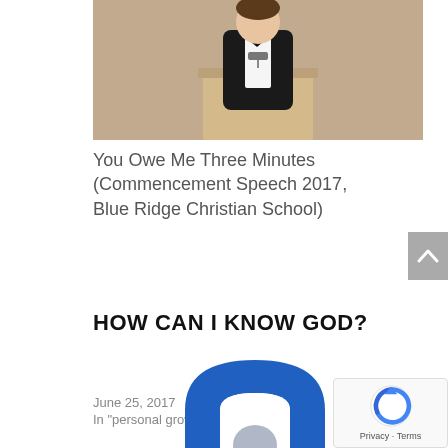[Figure (photo): Man in tuxedo speaking at a podium]
You Owe Me Three Minutes (Commencement Speech 2017, Blue Ridge Christian School)
June 25, 2017
In "personal growth"
HOW CAN I KNOW GOD?
[Figure (logo): Blue question mark / arch logo]
[Figure (logo): reCAPTCHA widget with Privacy · Terms text]